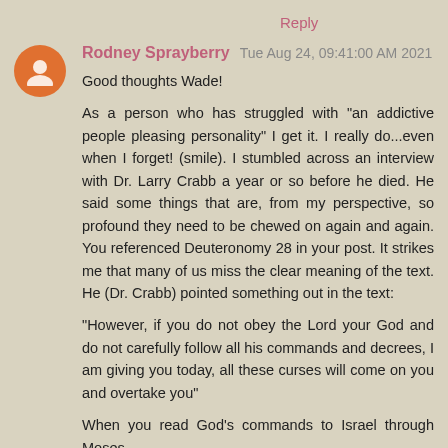Reply
Rodney Sprayberry  Tue Aug 24, 09:41:00 AM 2021
Good thoughts Wade!

As a person who has struggled with "an addictive people pleasing personality" I get it. I really do...even when I forget! (smile). I stumbled across an interview with Dr. Larry Crabb a year or so before he died. He said some things that are, from my perspective, so profound they need to be chewed on again and again. You referenced Deuteronomy 28 in your post. It strikes me that many of us miss the clear meaning of the text. He (Dr. Crabb) pointed something out in the text:

"However, if you do not obey the Lord your God and do not carefully follow all his commands and decrees, I am giving you today, all these curses will come on you and overtake you"

When you read God's commands to Israel through Moses,